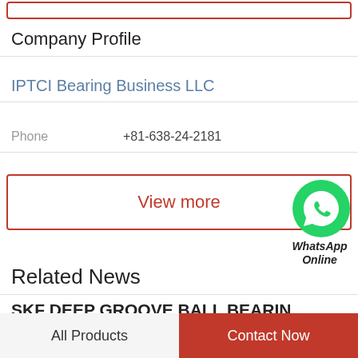Company Profile
IPTCI Bearing Business LLC
Phone   +81-638-24-2181
View more
[Figure (logo): WhatsApp green circle icon with phone handset symbol, labeled WhatsApp Online]
Related News
SKF DEEP GROOVE BALL BEARIN...
SKF DEEP GROOVE BALL BEARING PRICE LIST OM INDUSTRIESOVEX28V415SER €84.63
All Products
Contact Now